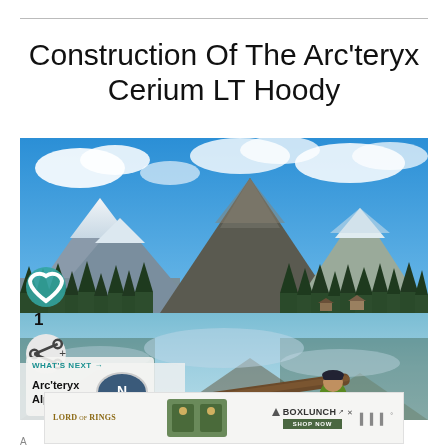Construction Of The Arc'teryx Cerium LT Hoody
[Figure (photo): Man in green jacket sitting on a log over a alpine lake with snow-capped mountains, evergreen trees, and blue sky with clouds reflected in the still water. Social media UI overlays including a teal heart button, share button, and count of 1. 'What's Next' overlay showing Arc'teryx Alpha AR... with thumbnail.]
[Figure (screenshot): Advertisement bar showing Lord of the Rings branding on left, decorative image in center, BoxLunch logo and shop now button on right, with sound/mute icons far right.]